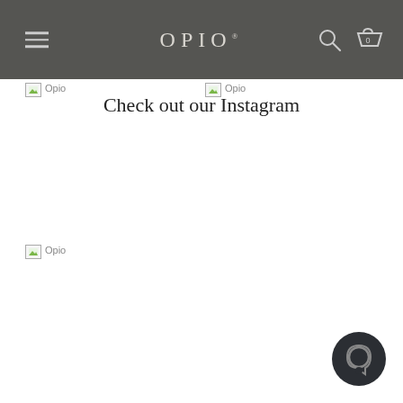OPIO
Check out our Instagram
[Figure (photo): Broken image placeholder labeled 'Opio' - Instagram post 1]
[Figure (photo): Broken image placeholder labeled 'Opio' - Instagram post 2]
[Figure (photo): Broken image placeholder labeled 'Opio' - Instagram post 3]
[Figure (other): Chat/support button icon in bottom right corner]